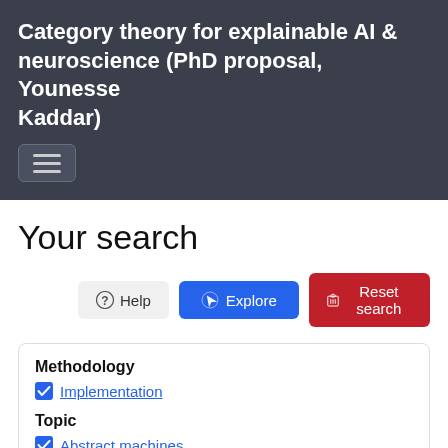Category theory for explainable AI & neuroscience (PhD proposal, Younesse Kaddar)
Your search
Help | Explore | Reset search
Methodology
☑ Implementation
Topic
☑ Abstract machines
Resource type